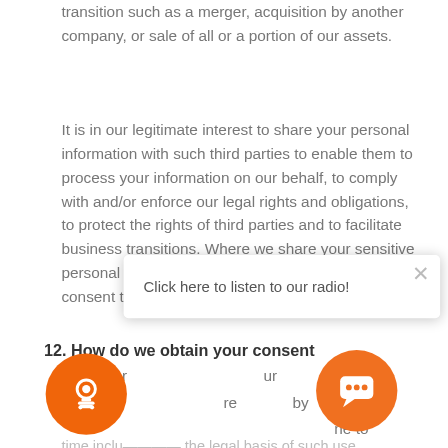transition such as a merger, acquisition by another company, or sale of all or a portion of our assets.
It is in our legitimate interest to share your personal information with such third parties to enable them to process your information on our behalf, to comply with and/or enforce our legal rights and obligations, to protect the rights of third parties and to facilitate business transitions. Where we share your sensitive personal information, we shall be relying on your consent to do so.
Any other [text obscured] ur [text obscured] re by [text obscured] ne to time including the legal basis of such use.
[Figure (screenshot): Popup overlay with close button (X) and text 'Click here to listen to our radio!']
12. How do we obtain your consent?
Where our use of your personal information requires your consent, you can provide such consent:
[Figure (illustration): Orange radio icon button (circular)]
[Figure (illustration): Orange chat icon button (circular)]